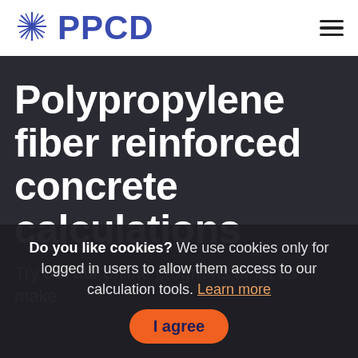PPCD
Polypropylene fiber reinforced concrete calculations
Try out our online programs or let us make
Do you like cookies? We use cookies only for logged in users to allow them access to our calculation tools. Learn more
I agree